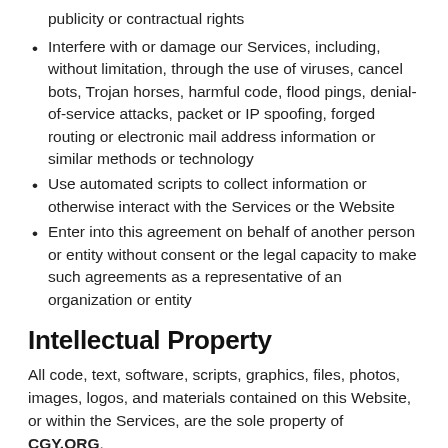publicity or contractual rights
Interfere with or damage our Services, including, without limitation, through the use of viruses, cancel bots, Trojan horses, harmful code, flood pings, denial-of-service attacks, packet or IP spoofing, forged routing or electronic mail address information or similar methods or technology
Use automated scripts to collect information or otherwise interact with the Services or the Website
Enter into this agreement on behalf of another person or entity without consent or the legal capacity to make such agreements as a representative of an organization or entity
Intellectual Property
All code, text, software, scripts, graphics, files, photos, images, logos, and materials contained on this Website, or within the Services, are the sole property of CGY.ORG.